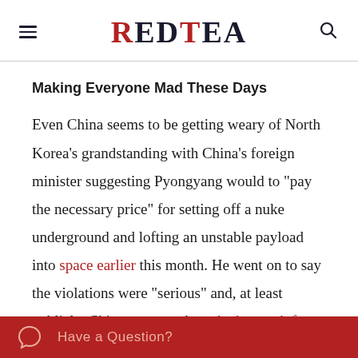RED TEA
Making Everyone Mad These Days
Even China seems to be getting weary of North Korea’s grandstanding with China’s foreign minister suggesting Pyongyang would to “pay the necessary price” for setting off a nuke underground and lofting an unstable payload into space earlier this month. He went on to say the violations were “serious” and, at least publicly, China seems to have had enough from the North. In the last ten
Have a Question?